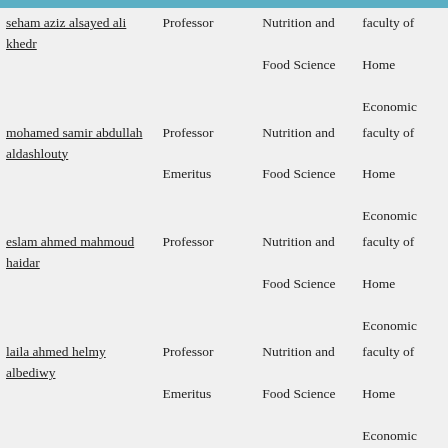| Name | Title | Department | Faculty |
| --- | --- | --- | --- |
| seham aziz alsayed ali khedr | Professor | Nutrition and Food Science | faculty of Home Economic |
| mohamed samir abdullah aldashlouty | Professor Emeritus | Nutrition and Food Science | faculty of Home Economic |
| eslam ahmed mahmoud haidar | Professor | Nutrition and Food Science | faculty of Home Economic |
| laila ahmed helmy albediwy | Professor Emeritus | Nutrition and Food Science | faculty of Home Economic |
| Wafaa Ahmed Refaat Zaki Moustafa | Lecturer | Nutrition and Food Science | faculty of Home Economic |
| olfat mahmoud ebrahim nassar | Associate Professor | Nutrition and Food Science | faculty of Home Economic |